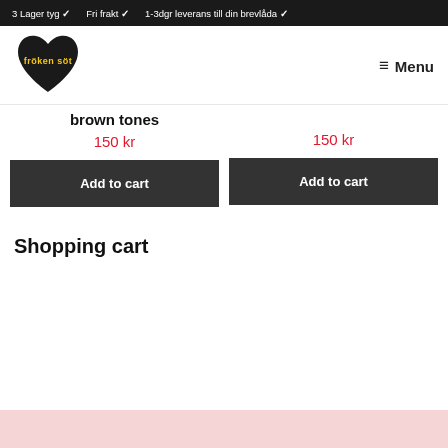3 Lager tyg ✓   Fri frakt ✓   1-3dgr leverans till din brevlåda ✓
[Figure (logo): Fröken söt logo: black heart shape with yellow text 'fröken söt' inside]
Menu
brown tones
150 kr
150 kr
Add to cart
Add to cart
Shopping cart